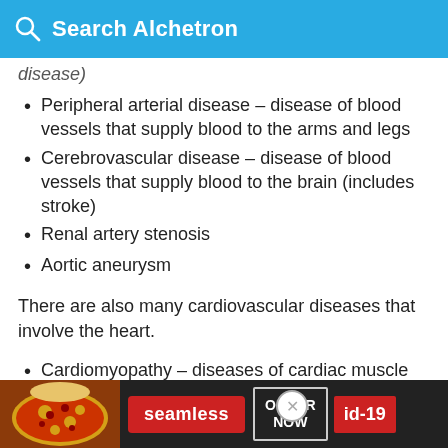Search Alchetron
disease)
Peripheral arterial disease – disease of blood vessels that supply blood to the arms and legs
Cerebrovascular disease – disease of blood vessels that supply blood to the brain (includes stroke)
Renal artery stenosis
Aortic aneurysm
There are also many cardiovascular diseases that involve the heart.
Cardiomyopathy – diseases of cardiac muscle
Hypertensive heart disease – diseases of the heart